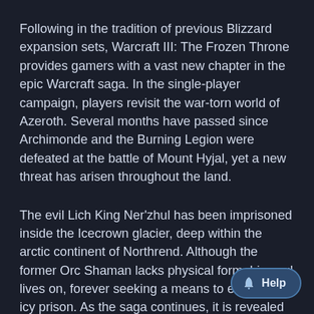Following in the tradition of previous Blizzard expansion sets, Warcraft III: The Frozen Throne provides gamers with a vast new chapter in the epic Warcraft saga. In the single-player campaign, players revisit the war-torn world of Azeroth. Several months have passed since Archimonde and the Burning Legion were defeated at the battle of Mount Hyjal, yet a new threat has arisen throughout the land.
The evil Lich King Ner'zhul has been imprisoned inside the Icecrown glacier, deep within the arctic continent of Northrend. Although the former Orc Shaman lacks physical form, his soul lives on, forever seeking a means to escape his icy prison. As the saga continues, it is revealed that both the Night Elf renegade, Illidan, and the traitorous Death Knight, Arthas, seek the Icecrown glacier and the mysterious powers found inside. W is uncertain as to what is being sought inside the Ic,